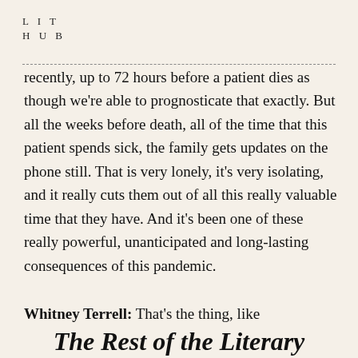LIT
HUB
recently, up to 72 hours before a patient dies as though we're able to prognosticate that exactly. But all the weeks before death, all of the time that this patient spends sick, the family gets updates on the phone still. That is very lonely, it's very isolating, and it really cuts them out of all this really valuable time that they have. And it's been one of these really powerful, unanticipated and long-lasting consequences of this pandemic.
Whitney Terrell: That's the thing, like
The Rest of the Literary